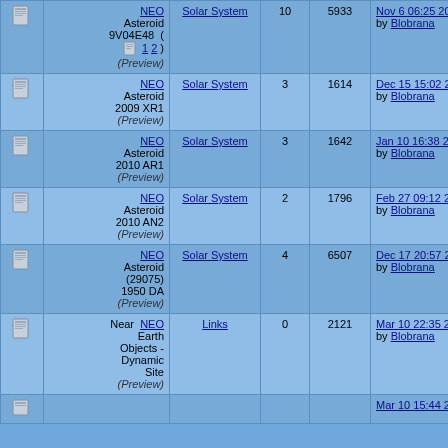|  | Topic | Category | Posts | Views | Last Post |
| --- | --- | --- | --- | --- | --- |
| [icon] | NEO Asteroid 9V04E48 (1 2) (Preview) | Solar System | 10 | 5933 | Nov 6 06:25 2012 by Blobrana |
| [icon] | NEO Asteroid 2009 XR1 (Preview) | Solar System | 3 | 1614 | Dec 15 15:02 2009 by Blobrana |
| [icon] | NEO Asteroid 2010 AR1 (Preview) | Solar System | 3 | 1642 | Jan 10 16:38 2010 by Blobrana |
| [icon] | NEO Asteroid 2010 AN2 (Preview) | Solar System | 2 | 1796 | Feb 27 09:12 2010 by Blobrana |
| [icon] | NEO Asteroid (29075) 1950 DA (Preview) | Solar System | 4 | 6507 | Dec 17 20:57 2013 by Blobrana |
| [icon] | Near NEO Earth Objects - Dynamic Site (Preview) | Links | 0 | 2121 | Mar 10 22:35 2010 by Blobrana |
| [icon] | (partial) |  |  |  | Mar 10 15:44 2009 |